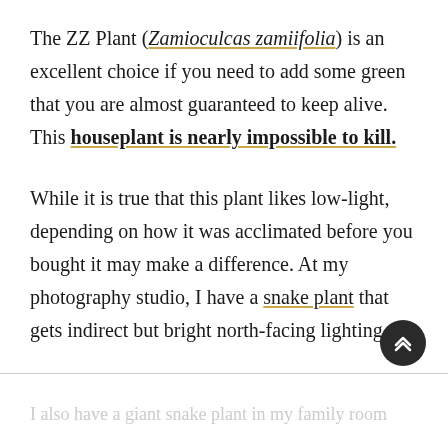The ZZ Plant (Zamioculcas zamiifolia) is an excellent choice if you need to add some green that you are almost guaranteed to keep alive. This houseplant is nearly impossible to kill.
While it is true that this plant likes low-light, depending on how it was acclimated before you bought it may make a difference. At my photography studio, I have a snake plant that gets indirect but bright north-facing lighting.
I also have a giant snake plant in my family room